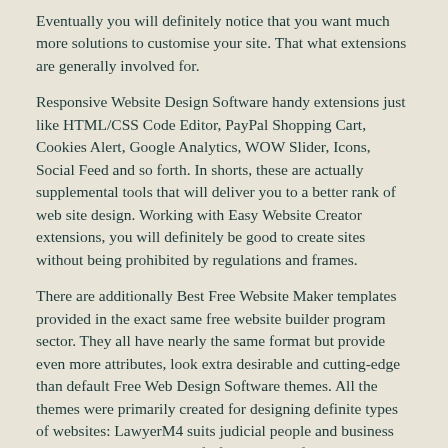Eventually you will definitely notice that you want much more solutions to customise your site. That what extensions are generally involved for.
Responsive Website Design Software handy extensions just like HTML/CSS Code Editor, PayPal Shopping Cart, Cookies Alert, Google Analytics, WOW Slider, Icons, Social Feed and so forth. In shorts, these are actually supplemental tools that will deliver you to a better rank of web site design. Working with Easy Website Creator extensions, you will definitely be good to create sites without being prohibited by regulations and frames.
There are additionally Best Free Website Maker templates provided in the exact same free website builder program sector. They all have nearly the same format but provide even more attributes, look extra desirable and cutting-edge than default Free Web Design Software themes. All the themes were primarily created for designing definite types of websites: LawyerM4 suits judicial people and business organizations, AgencyM4 fulfills desires of agencies and companies, StoreM4 is excellent for producing an on-line shop website and so forth.